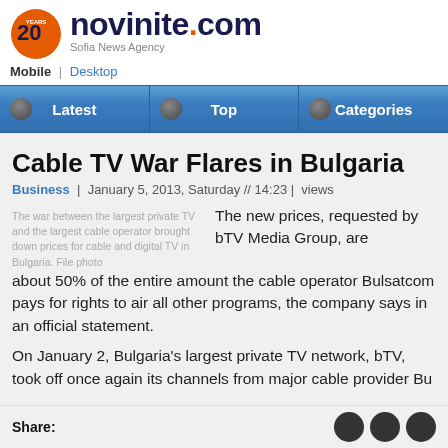[Figure (logo): Novinite.com logo with 20 years icon and Sofia News Agency tagline]
Mobile | Desktop
Latest | Top | Categories
Cable TV War Flares in Bulgaria
Business | January 5, 2013, Saturday // 14:23 | views
The war between the largest private TV and the largest cable operator brought down prices for cable and digital TV in Bulgaria. File photo
The new prices, requested by bTV Media Group, are about 50% of the entire amount the cable operator Bulsatcom pays for rights to air all other programs, the company says in an official statement.
On January 2, Bulgaria's largest private TV network, bTV, took off once again its channels from major cable provider Bu...
Share: